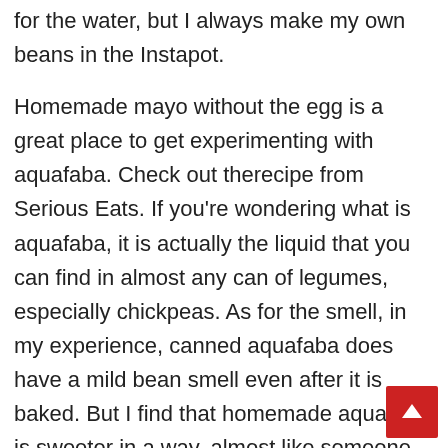for the water, but I always make my own beans in the Instapot.
Homemade mayo without the egg is a great place to get experimenting with aquafaba. Check out therecipe from Serious Eats. If you're wondering what is aquafaba, it is actually the liquid that you can find in almost any can of legumes, especially chickpeas. As for the smell, in my experience, canned aquafaba does have a mild bean smell even after it is baked. But I find that homemade aquafaba is sweeter in a way, almost like someone added cinnamon or nutmeg!
I found it took some practice when I started learning, but it just takes patience. As it starts to